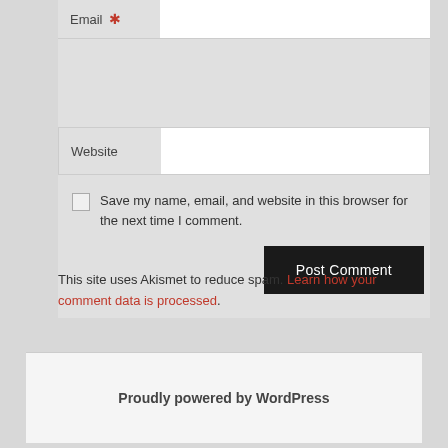[Figure (screenshot): Email field with red asterisk required marker and white input box]
[Figure (screenshot): Website field label with white input box]
Save my name, email, and website in this browser for the next time I comment.
[Figure (screenshot): Post Comment button, dark/black background with white text]
This site uses Akismet to reduce spam. Learn how your comment data is processed.
Proudly powered by WordPress